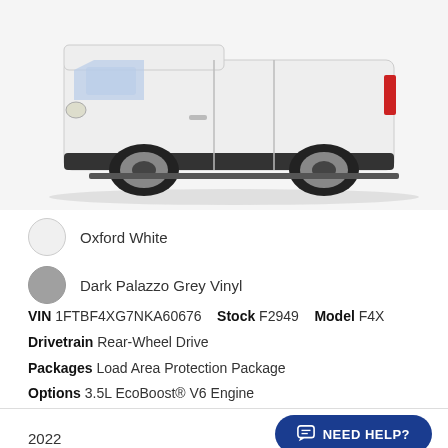[Figure (photo): Side profile of a white Ford Transit cargo van on a white/light grey background]
Oxford White
Dark Palazzo Grey Vinyl
VIN 1FTBF4XG7NKA60676   Stock F2949   Model F4X
Drivetrain Rear-Wheel Drive
Packages Load Area Protection Package
Options 3.5L EcoBoost® V6 Engine
NEED HELP?
2022